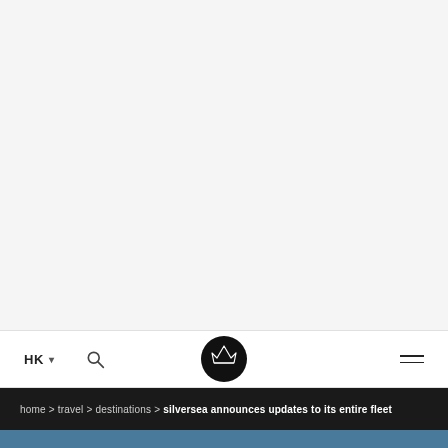[Figure (photo): Large hero image area at top of page, appears mostly white/light gray (image content not fully visible)]
HK ▾  [search]  [Silversea logo]  [menu]
home > travel > destinations > silversea announces updates to its entire fleet